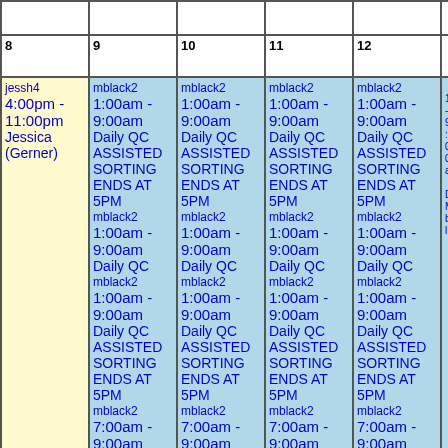| 8 | 9 | 10 | 11 | 12 |  |
| --- | --- | --- | --- | --- | --- |
| jessh4
4:00pm - 11:00pm
Jessica (Gerner) | mblack2
1:00am - 9:00am
Daily QC
ASSISTED SORTING ENDS AT 5PM
mblack2
1:00am - 9:00am
Daily QC
mblack2
1:00am - 9:00am
Daily QC
ASSISTED SORTING ENDS AT 5PM
mblack2
7:00am - 9:00am | mblack2
1:00am - 9:00am
Daily QC
ASSISTED SORTING ENDS AT 5PM
mblack2
1:00am - 9:00am
Daily QC
mblack2
1:00am - 9:00am
Daily QC
ASSISTED SORTING ENDS AT 5PM
mblack2
7:00am - 9:00am | mblack2
1:00am - 9:00am
Daily QC
ASSISTED SORTING ENDS AT 5PM
mblack2
1:00am - 9:00am
Daily QC
mblack2
1:00am - 9:00am
Daily QC
ASSISTED SORTING ENDS AT 5PM
mblack2
7:00am - 9:00am | mblack2
1:00am - 9:00am
Daily QC
ASSISTED SORTING ENDS AT 5PM
mblack2
1:00am - 9:00am
Daily QC
mblack2
1:00am - 9:00am
Daily QC
ASSISTED SORTING ENDS AT 5PM
mblack2
7:00am - 9:00am |  |